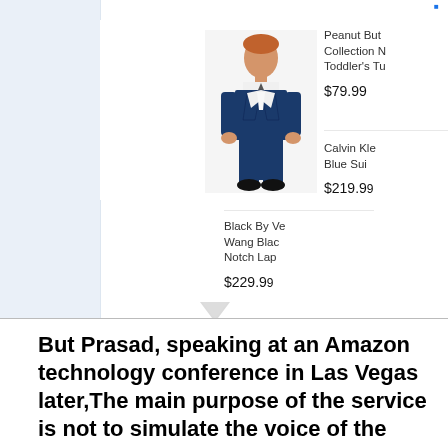[Figure (screenshot): Screenshot of an e-commerce product listing showing children's suit products with prices. Includes a boy in a navy blue suit, product names (Peanut Butter Collection N Toddler's Tu: $79.99; Calvin Klein Blue Sui: $219.99; Black By Ve Wang Black Notch Lap: $229.99). Left sidebar is light blue.]
But Prasad, speaking at an Amazon technology conference in Las Vegas later, The main purpose of the service is not to simulate the voice of the deceased.